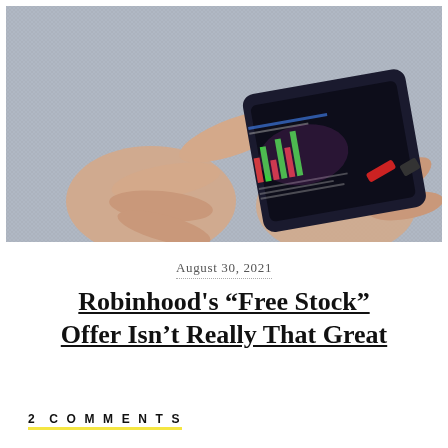[Figure (photo): Hands holding a smartphone displaying stock market data/charts, resting on a textured fabric surface]
August 30, 2021
Robinhood's “Free Stock” Offer Isn’t Really That Great
2 COMMENTS